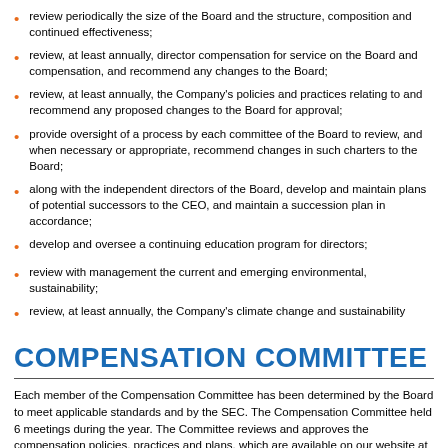review periodically the size of the Board and the structure, composition and continued effectiveness;
review, at least annually, director compensation for service on the Board and compensation, and recommend any changes to the Board;
review, at least annually, the Company's policies and practices relating to and recommend any proposed changes to the Board for approval;
provide oversight of a process by each committee of the Board to review, and when necessary or appropriate, recommend changes in such charters to the Board;
along with the independent directors of the Board, develop and maintain plans of potential successors to the CEO, and maintain a succession plan in accordance;
develop and oversee a continuing education program for directors;
review with management the current and emerging environmental, sustainability;
review, at least annually, the Company's climate change and sustainability
COMPENSATION COMMITTEE
Each member of the Compensation Committee has been determined by the Board to meet applicable standards and by the SEC. The Compensation Committee held 6 meetings during the year. The Committee reviews and approves the compensation policies, practices and plans, which are available on our website at www.cheniere.com. The Chairman of the Compensation Committee meets with other members, members of management and the independent compensation consultant in between full Committee meetings.
The Compensation Committee's charter is reviewed annually. Changes to the charter